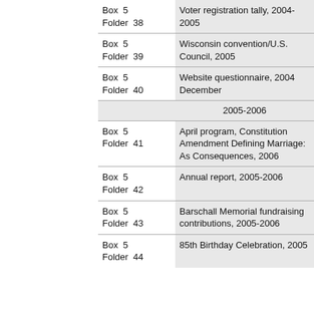| Location | Description |
| --- | --- |
| Box 5
Folder 38 | Voter registration tally, 2004-2005 |
| Box 5
Folder 39 | Wisconsin convention/U.S. Council, 2005 |
| Box 5
Folder 40 | Website questionnaire, 2004 December |
|  | 2005-2006 |
| Box 5
Folder 41 | April program, Constitution Amendment Defining Marriage: As Consequences, 2006 |
| Box 5
Folder 42 | Annual report, 2005-2006 |
| Box 5
Folder 43 | Barschall Memorial fundraising contributions, 2005-2006 |
| Box 5
Folder 44 | 85th Birthday Celebration, 2005 |